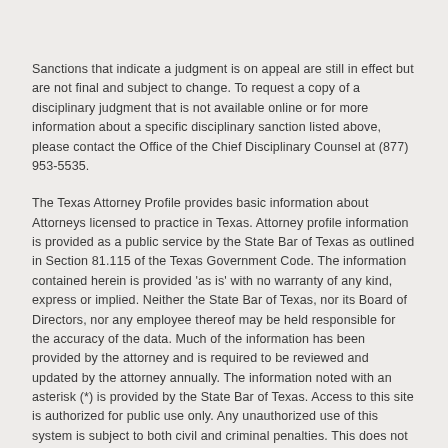Sanctions that indicate a judgment is on appeal are still in effect but are not final and subject to change. To request a copy of a disciplinary judgment that is not available online or for more information about a specific disciplinary sanction listed above, please contact the Office of the Chief Disciplinary Counsel at (877) 953-5535.
The Texas Attorney Profile provides basic information about Attorneys licensed to practice in Texas. Attorney profile information is provided as a public service by the State Bar of Texas as outlined in Section 81.115 of the Texas Government Code. The information contained herein is provided 'as is' with no warranty of any kind, express or implied. Neither the State Bar of Texas, nor its Board of Directors, nor any employee thereof may be held responsible for the accuracy of the data. Much of the information has been provided by the attorney and is required to be reviewed and updated by the attorney annually. The information noted with an asterisk (*) is provided by the State Bar of Texas. Access to this site is authorized for public use only. Any unauthorized use of this system is subject to both civil and criminal penalties. This does not constitute a certified lawyer referral service.